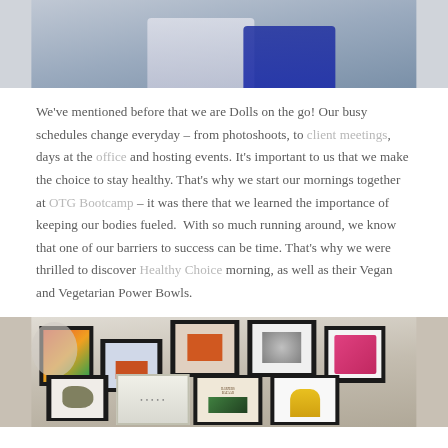[Figure (photo): Top portion of a photo showing two people sitting, one in white and one in blue outfit, cropped at the bottom]
We've mentioned before that we are Dolls on the go! Our busy schedules change everyday – from photoshoots, to client meetings, days at the office and hosting events. It's important to us that we make the choice to stay healthy. That's why we start our mornings together at OTG Bootcamp – it was there that we learned the importance of keeping our bodies fueled.  With so much running around, we know that one of our barriers to success can be time. That's why we were thrilled to discover Healthy Choice morning, as well as their Vegan and Vegetarian Power Bowls.
[Figure (photo): Photo of a gallery wall with multiple framed artworks and pictures including magazine covers and illustrations, with a vanity mirror with lights]